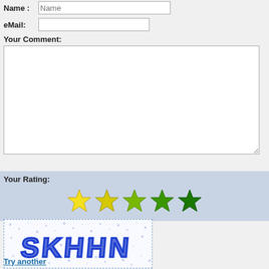Name :
eMail:
Your Comment:
[Figure (other): Rating section with 5 stars (yellow to dark green gradient) labeled 'Your Rating:']
[Figure (other): CAPTCHA image showing distorted text 'SKHHN' in blue on white background with noise dots]
Try another